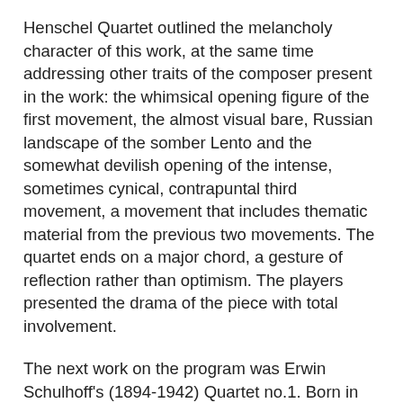Henschel Quartet outlined the melancholy character of this work, at the same time addressing other traits of the composer present in the work: the whimsical opening figure of the first movement, the almost visual bare, Russian landscape of the somber Lento and the somewhat devilish opening of the intense, sometimes cynical, contrapuntal third movement, a movement that includes thematic material from the previous two movements. The quartet ends on a major chord, a gesture of reflection rather than optimism. The players presented the drama of the piece with total involvement.
The next work on the program was Erwin Schulhoff's (1894-1942) Quartet no.1. Born in Prague of German-Jewish parents, Schulhoff became a virtuoso pianist. His own composition absorbed both German and Czech idiom as well as that of Debussy, but was influenced by the jazz he had heard when in Weimar and Paris. Schulhoff perished in the Wuelzberg concentration camp. His Quartet no.1 was composed after his return to Prague in 1924. The opening Presto con fuoco is rich in texture, intense and energetic, certainly eastern European in character. The second